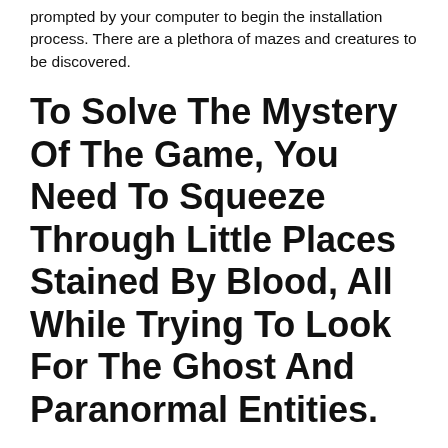prompted by your computer to begin the installation process. There are a plethora of mazes and creatures to be discovered.
To Solve The Mystery Of The Game, You Need To Squeeze Through Little Places Stained By Blood, All While Trying To Look For The Ghost And Paranormal Entities.
At the start of the round, one player. Survive the killer has several maps that the players vote on for each round. They don't just allow any game to stay up if it violates their tos